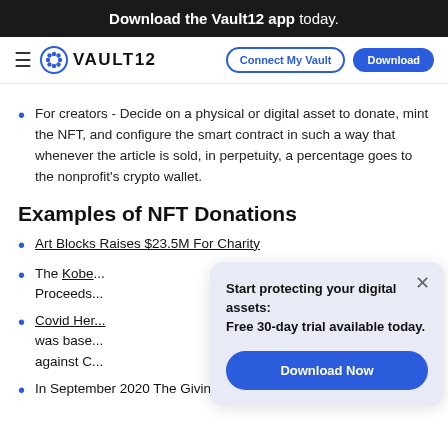Download the Vault12 app today.
VAULT12 | Connect My Vault | Download
For creators - Decide on a physical or digital asset to donate, mint the NFT, and configure the smart contract in such a way that whenever the article is sold, in perpetuity, a percentage goes to the nonprofit's crypto wallet.
Examples of NFT Donations
Art Blocks Raises $23.5M For Charity
The Kobe... Proceeds...
Covid Her... was base... against C...
In September 2020 The Giving Block partnered with
[Figure (infographic): Popup modal with text 'Start protecting your digital assets: Free 30-day trial available today.' and a 'Download Now' button, with a close (×) button in top right. Background is light lavender/blue.]